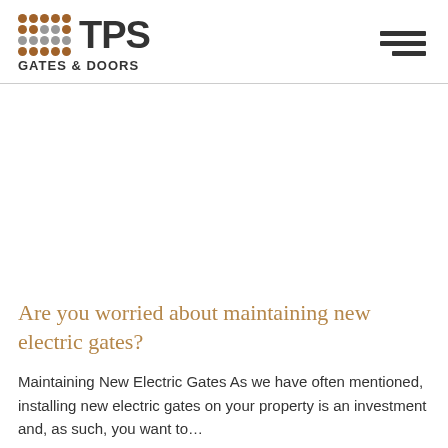TPS GATES & DOORS
Are you worried about maintaining new electric gates?
Maintaining New Electric Gates As we have often mentioned, installing new electric gates on your property is an investment and, as such, you want to…